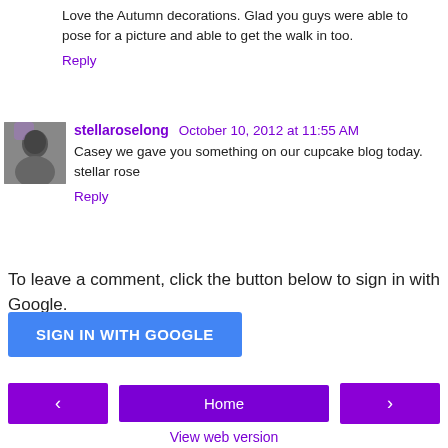Love the Autumn decorations. Glad you guys were able to pose for a picture and able to get the walk in too.
Reply
stellaroselong  October 10, 2012 at 11:55 AM
[Figure (photo): Small avatar image of a person/pet in purple tones]
Casey we gave you something on our cupcake blog today. stellar rose
Reply
To leave a comment, click the button below to sign in with Google.
SIGN IN WITH GOOGLE
< Home >
View web version